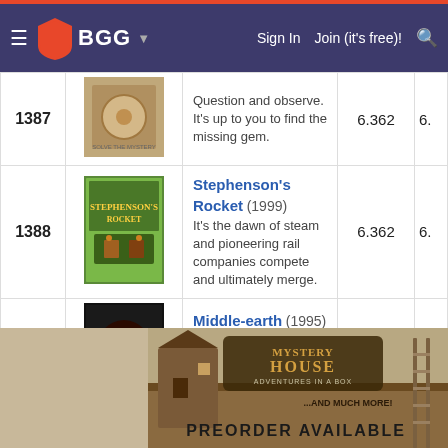BGG — Sign In | Join (it's free)!
| Rank | Image | Game | Score | Score2 |
| --- | --- | --- | --- | --- |
| 1387 | [image] | Question and observe. It's up to you to find the missing gem. | 6.362 | 6. |
| 1388 | [image] | Stephenson's Rocket (1999) It's the dawn of steam and pioneering rail companies compete and ultimately merge. | 6.362 | 6. |
| 1389 | [image] | Middle-earth (1995) Build your deck, reunite the Free Peoples and stop your opponent! | 6.361 | 7. |
| 1390 | [image] | Traders of Osaka (2006) Manage the market & bring goods to trade in Osaka or be forced to fend off pirates. | 6.361 | 6.8 |
[Figure (screenshot): Mystery House advertisement banner — PREORDER AVAILABLE]
MYSTERY HOUSE ...AND MUCH MORE! PREORDER AVAILABLE